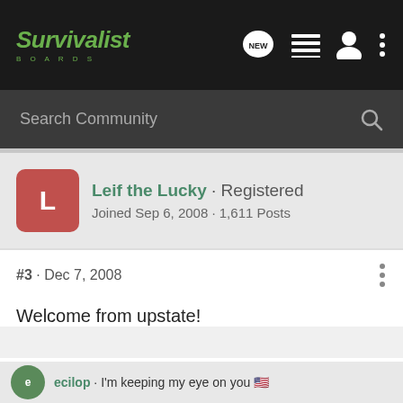Survivalist Boards
Search Community
Leif the Lucky · Registered
Joined Sep 6, 2008 · 1,611 Posts
#3 · Dec 7, 2008
Welcome from upstate!
ecilop · I'm keeping my eye on you 🇺🇸